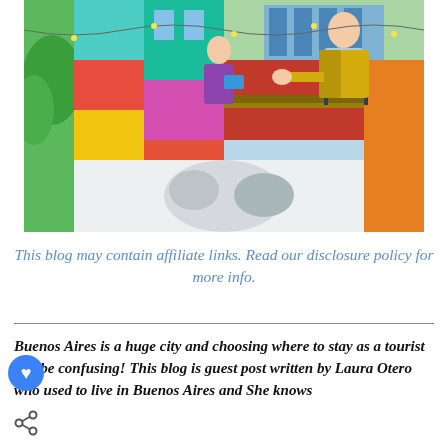[Figure (photo): Colorful building facades in La Boca neighborhood of Buenos Aires with street art murals depicting figures on a balcony and other artistic scenes. Buildings painted in vivid colors: teal, red, yellow, orange, pink. Two life-size figures on a balcony — an elderly man in a yellow jacket leaning over railing, and a woman with flowers holding a watering can.]
This blog may contain affiliate links. Read our disclosure policy for more info.
Buenos Aires is a huge city and choosing where to stay as a tourist can be confusing! This blog is guest post written by Laura Otero who used to live in Buenos Aires and She knows